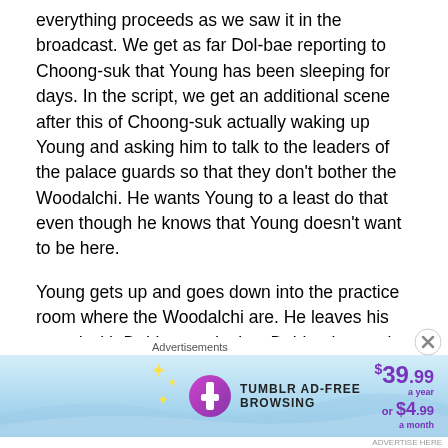everything proceeds as we saw it in the broadcast. We get as far Dol-bae reporting to Choong-suk that Young has been sleeping for days. In the script, we get an additional scene after this of Choong-suk actually waking up Young and asking him to talk to the leaders of the palace guards so that they don't bother the Woodalchi. He wants Young to a least do that even though he knows that Young doesn't want to be here.
Young gets up and goes down into the practice room where the Woodalchi are. He leaves his sword with Dol-bae and takes Dol-bae's practice wooden sword instead. He leaves the room.
[Figure (other): Tumblr Ad-Free Browsing advertisement banner showing $39.99 a year or $4.99 a month pricing with Tumblr logo]